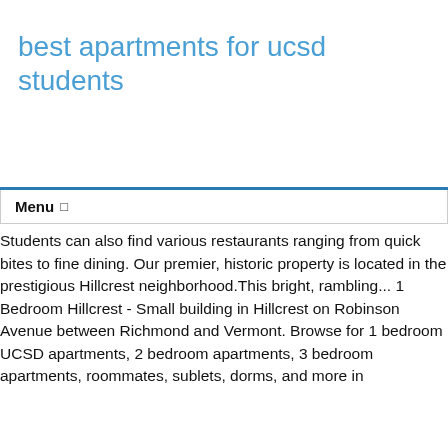best apartments for ucsd students
Menu
Students can also find various restaurants ranging from quick bites to fine dining. Our premier, historic property is located in the prestigious Hillcrest neighborhood.This bright, rambling... 1 Bedroom Hillcrest - Small building in Hillcrest on Robinson Avenue between Richmond and Vermont. Browse for 1 bedroom UCSD apartments, 2 bedroom apartments, 3 bedroom apartments, roommates, sublets, dorms, and more in